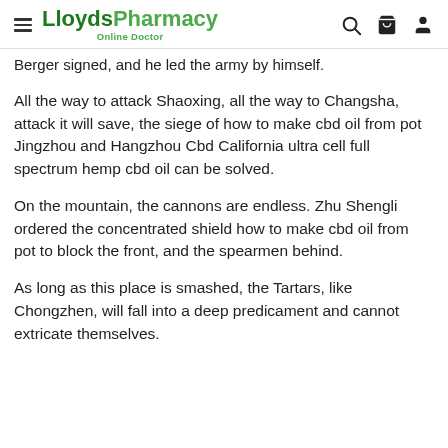LloydsPharmacy Online Doctor
Berger signed, and he led the army by himself.
All the way to attack Shaoxing, all the way to Changsha, attack it will save, the siege of how to make cbd oil from pot Jingzhou and Hangzhou Cbd California ultra cell full spectrum hemp cbd oil can be solved.
On the mountain, the cannons are endless. Zhu Shengli ordered the concentrated shield how to make cbd oil from pot to block the front, and the spearmen behind.
As long as this place is smashed, the Tartars, like Chongzhen, will fall into a deep predicament and cannot extricate themselves.